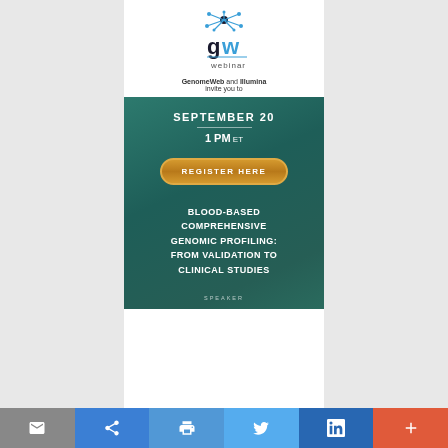[Figure (logo): GenomeWeb Webinar logo with network/node graphic above 'gw webinar' text]
GenomeWeb and Illumina invite you to
[Figure (infographic): Teal/green banner with webinar date, time, register button, and webinar title: SEPTEMBER 20 / 1 PM ET / REGISTER HERE / BLOOD-BASED COMPREHENSIVE GENOMIC PROFILING: FROM VALIDATION TO CLINICAL STUDIES / SPEAKER]
[Figure (other): Bottom toolbar with email, share, print, Twitter, LinkedIn, and plus icons]